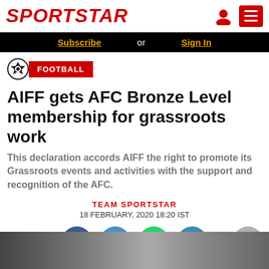SPORTSTAR
Subscribe or Sign In
FOOTBALL
AIFF gets AFC Bronze Level membership for grassroots work
This declaration accords AIFF the right to promote its Grassroots events and activities with the support and recognition of the AFC.
TEAM SPORTSTAR
18 FEBRUARY, 2020 18:20 IST
[Figure (illustration): Social media share buttons: Facebook, Twitter, WhatsApp, Telegram. Scroll-to-top button on the right.]
[Figure (photo): Partial photo strip at bottom of page showing people, likely football players or officials.]